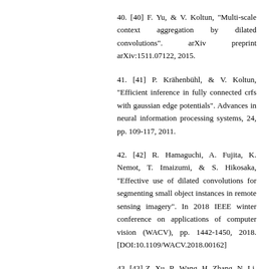40. [40] F. Yu, & V. Koltun, "Multi-scale context aggregation by dilated convolutions". arXiv preprint arXiv:1511.07122, 2015.
41. [41] P. Krähenbühl, & V. Koltun, "Efficient inference in fully connected crfs with gaussian edge potentials". Advances in neural information processing systems, 24, pp. 109-117, 2011.
42. [42] R. Hamaguchi, A. Fujita, K. Nemot, T. Imaizumi, & S. Hikosaka, "Effective use of dilated convolutions for segmenting small object instances in remote sensing imagery". In 2018 IEEE winter conference on applications of computer vision (WACV), pp. 1442-1450, 2018. [DOI:10.1109/WACV.2018.00162]
43. [43] Z. Xu, R. Wang, H. Zhang, N. Li, & L.